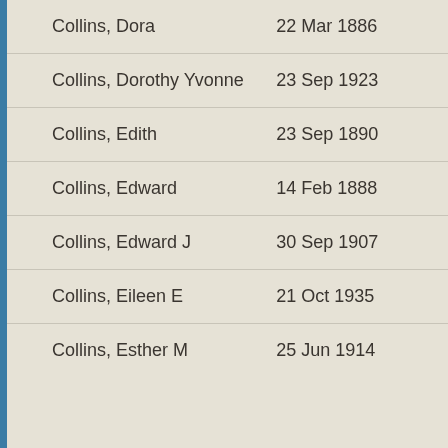| Name | Date |
| --- | --- |
| Collins, Dora | 22 Mar 1886 |
| Collins, Dorothy Yvonne | 23 Sep 1923 |
| Collins, Edith | 23 Sep 1890 |
| Collins, Edward | 14 Feb 1888 |
| Collins, Edward J | 30 Sep 1907 |
| Collins, Eileen E | 21 Oct 1935 |
| Collins, Esther M | 25 Jun 1914 |